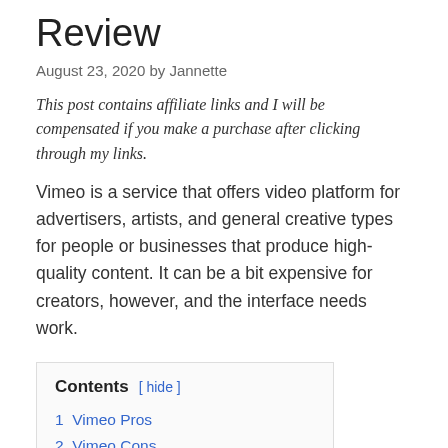Review
August 23, 2020 by Jannette
This post contains affiliate links and I will be compensated if you make a purchase after clicking through my links.
Vimeo is a service that offers video platform for advertisers, artists, and general creative types for people or businesses that produce high-quality content. It can be a bit expensive for creators, however, and the interface needs work.
Contents [ hide ]
1 Vimeo Pros
2 Vimeo Cons